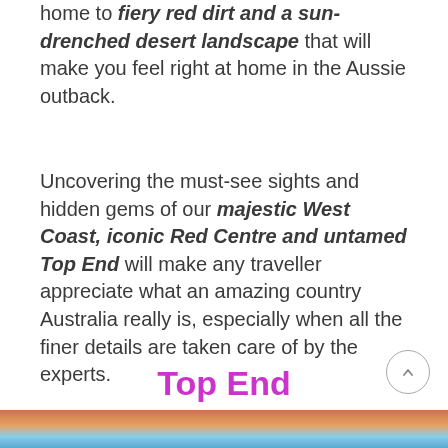home to fiery red dirt and a sun-drenched desert landscape that will make you feel right at home in the Aussie outback.
Uncovering the must-see sights and hidden gems of our majestic West Coast, iconic Red Centre and untamed Top End will make any traveller appreciate what an amazing country Australia really is, especially when all the finer details are taken care of by the experts.
Top End
[Figure (photo): Partial view of an outback/landscape photo strip at the bottom of the page showing red dirt and blue sky]